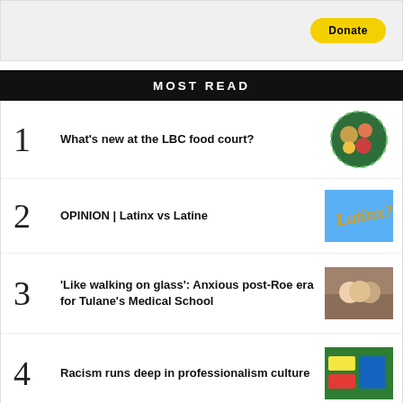[Figure (other): Banner area with yellow Donate button]
MOST READ
1 What's new at the LBC food court?
2 OPINION | Latinx vs Latine
3 'Like walking on glass': Anxious post-Roe era for Tulane's Medical School
4 Racism runs deep in professionalism culture
5 Lifetime wait for Indian green card